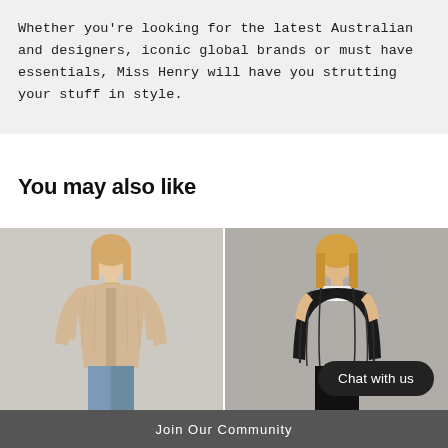Whether you're looking for the latest Australian and designers, iconic global brands or must have essentials, Miss Henry will have you strutting your stuff in style.
You may also like
[Figure (photo): Fashion model wearing a beige/cream fuzzy jacket with blue jeans, standing against a light gray background]
[Figure (photo): Fashion model wearing a black sleeveless fuzzy vest with a white top and gold necklace, standing against a gray background]
Chat with us
Join Our Community